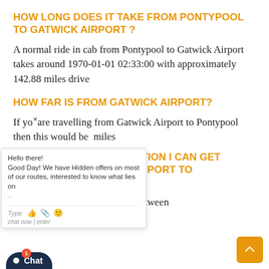HOW LONG DOES IT TAKE FROM PONTYPOOL TO GATWICK AIRPORT ?
A normal ride in cab from Pontypool to Gatwick Airport takes around 1970-01-01 02:33:00 with approximately 142.88 miles drive
HOW FAR IS FROM GATWICK AIRPORT?
If you are travelling from Gatwick Airport to Pontypool then this would be [x] miles
WHAT ARE THE OPTION I CAN GET FROM GATWICK AIRPORT TO PONTYPOOL?
When Travelling to and from between
[Figure (screenshot): Chat widget overlay showing 'Hello there! Good Day! We have Hidden offers on most of our routes, interested to know what lies on [...]' with Type input row and emoji/attachment icons, and chat footer text 'chat now | enter']
[Figure (other): Chat tab button at bottom left: dark navy background, dot icon, 'Chat' text, red badge with '1']
[Figure (other): Scroll-to-top button at bottom right: orange square with upward chevron arrow]